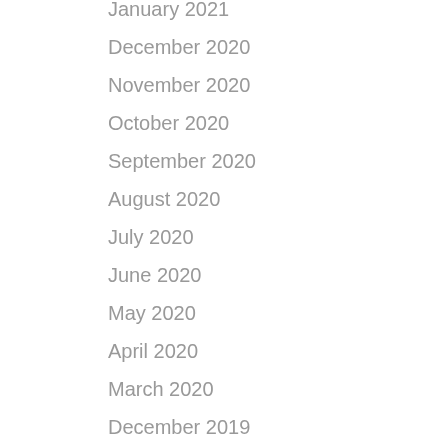January 2021
December 2020
November 2020
October 2020
September 2020
August 2020
July 2020
June 2020
May 2020
April 2020
March 2020
December 2019
November 2019
October 2019